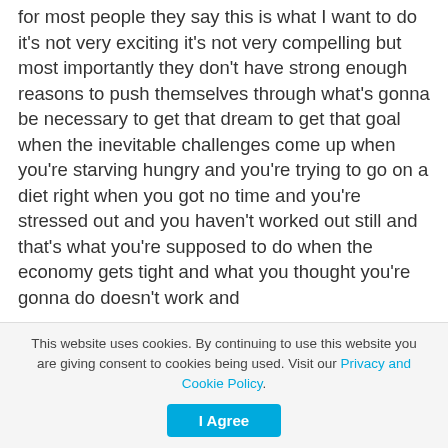for most people they say this is what I want to do it's not very exciting it's not very compelling but most importantly they don't have strong enough reasons to push themselves through what's gonna be necessary to get that dream to get that goal when the inevitable challenges come up when you're starving hungry and you're trying to go on a diet right when you got no time and you're stressed out and you haven't worked out still and that's what you're supposed to do when the economy gets tight and what you thought you're gonna do doesn't work and
This website uses cookies. By continuing to use this website you are giving consent to cookies being used. Visit our Privacy and Cookie Policy.